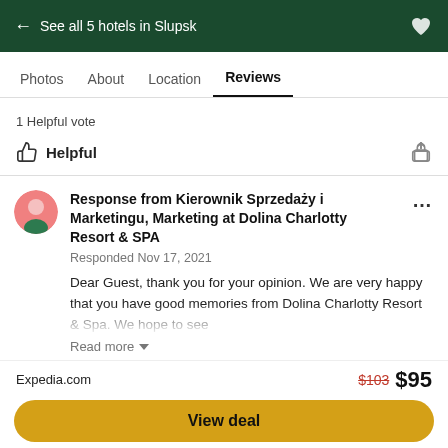← See all 5 hotels in Slupsk
Photos  About  Location  Reviews
1 Helpful vote
Helpful
Response from Kierownik Sprzedaży i Marketingu, Marketing at Dolina Charlotty Resort & SPA
Responded Nov 17, 2021
Dear Guest, thank you for your opinion. We are very happy that you have good memories from Dolina Charlotty Resort & Spa. We hope to see
Read more
Expedia.com  $103  $95
View deal